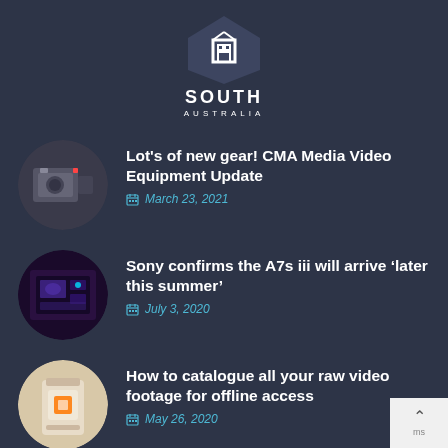[Figure (logo): South Australia government logo - white geometric pentagon shape with square icon, text SOUTH AUSTRALIA below]
[Figure (photo): Circular thumbnail of video camera equipment, dark tones]
Lot's of new gear! CMA Media Video Equipment Update
March 23, 2021
[Figure (photo): Circular thumbnail of camera/video setup with purple/dark tones]
Sony confirms the A7s iii will arrive ‘later this summer’
July 3, 2020
[Figure (photo): Circular thumbnail of a white electronic device with orange square button]
How to catalogue all your raw video footage for offline access
May 26, 2020